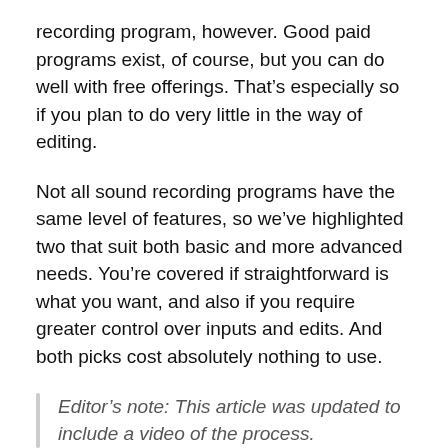recording program, however. Good paid programs exist, of course, but you can do well with free offerings. That’s especially so if you plan to do very little in the way of editing.
Not all sound recording programs have the same level of features, so we’ve highlighted two that suit both basic and more advanced needs. You’re covered if straightforward is what you want, and also if you require greater control over inputs and edits. And both picks cost absolutely nothing to use.
Editor’s note: This article was updated to include a video of the process.